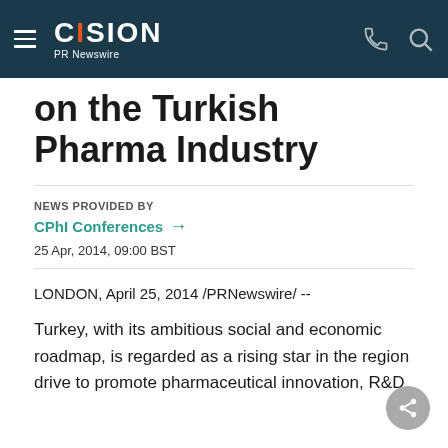CISION PR Newswire
on the Turkish Pharma Industry
NEWS PROVIDED BY
CPhI Conferences →
25 Apr, 2014, 09:00 BST
LONDON, April 25, 2014 /PRNewswire/ --
Turkey, with its ambitious social and economic roadmap, is regarded as a rising star in the region drive to promote pharmaceutical innovation, R&D